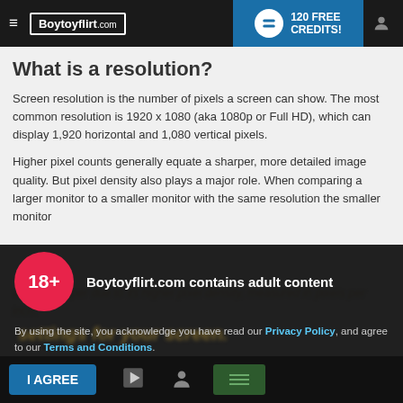Boytoyflirt.com — 120 FREE CREDITS!
What is a resolution?
Screen resolution is the number of pixels a screen can show. The most common resolution is 1920 x 1080 (aka 1080p or Full HD), which can display 1,920 horizontal and 1,080 vertical pixels.
Higher pixel counts generally equate a sharper, more detailed image quality. But pixel density also plays a major role. When comparing a larger monitor to a smaller monitor with the same resolution the smaller monitor will be sharper due to its higher pixel density, measured in pixels per inch.
18+ Boytoyflirt.com contains adult content
By using the site, you acknowledge you have read our Privacy Policy, and agree to our Terms and Conditions.
We use cookies to optimize your experience, analyze traffic, and deliver more personalized service. To learn more, please see our Privacy Policy.
I AGREE